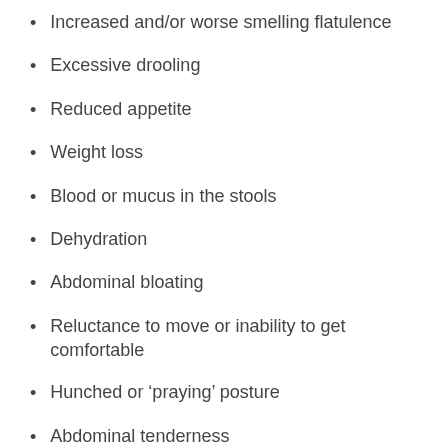Increased and/or worse smelling flatulence
Excessive drooling
Reduced appetite
Weight loss
Blood or mucus in the stools
Dehydration
Abdominal bloating
Reluctance to move or inability to get comfortable
Hunched or ‘praying’ posture
Abdominal tenderness
Whining or yelping when handled